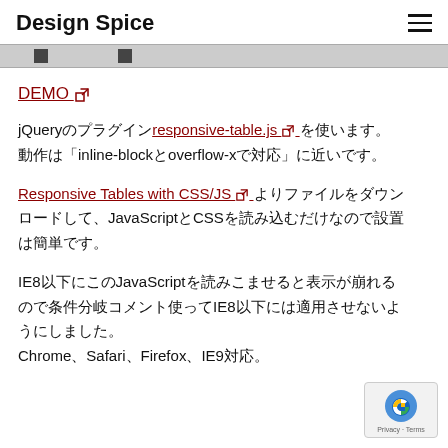Design Spice
[Figure (screenshot): Partial image strip showing dark thumbnail elements on gray background]
DEMO [external link icon]
jQueryのプラグインresponsive-table.js [external link icon]を使います。動作は「inline-blockとoverflow-xで対応」に近いです。
Responsive Tables with CSS/JS [external link icon]よりファイルをダウンロードして、JavaScriptとCSSを読み込むだけなので設置は簡単です。
IE8以下にこのJavaScriptを読みこませると表示が崩れるので条件分岐コメント使ってIE8以下には適用させないようにしました。Chrome、Safari、Firefox、IE9対応。